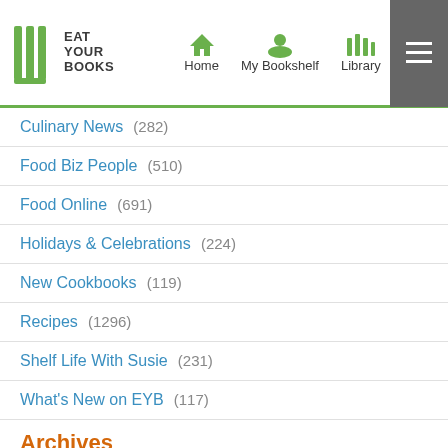Eat Your Books — Home | My Bookshelf | Library
Culinary News (282)
Food Biz People (510)
Food Online (691)
Holidays & Celebrations (224)
New Cookbooks (119)
Recipes (1296)
Shelf Life With Susie (231)
What's New on EYB (117)
Archives
2022
2021
December
November